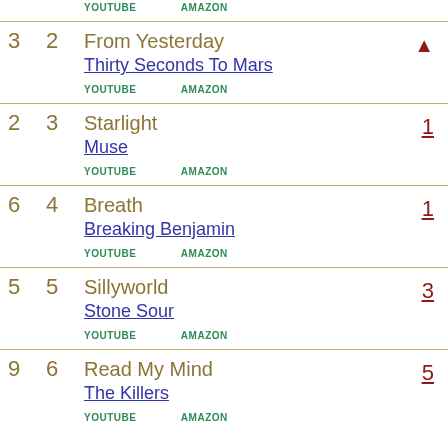My Chemical Romance - YOUTUBE AMAZON (partial, top of page)
3 2 From Yesterday - Thirty Seconds To Mars - YOUTUBE AMAZON - up arrow
2 3 Starlight - Muse - YOUTUBE AMAZON - 1
6 4 Breath - Breaking Benjamin - YOUTUBE AMAZON - 1
5 5 Sillyworld - Stone Sour - YOUTUBE AMAZON - 3
9 6 Read My Mind - The Killers - YOUTUBE AMAZON - 5